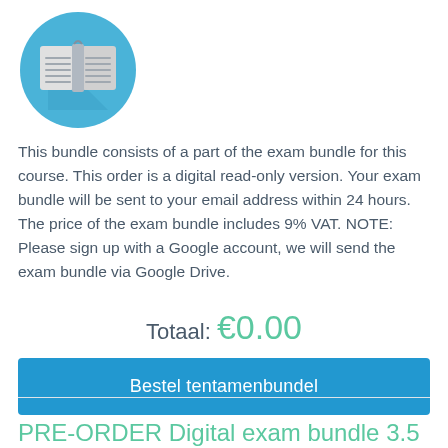[Figure (illustration): Open book icon inside a blue circle with shadow, representing a digital exam bundle product.]
This bundle consists of a part of the exam bundle for this course. This order is a digital read-only version. Your exam bundle will be sent to your email address within 24 hours. The price of the exam bundle includes 9% VAT. NOTE: Please sign up with a Google account, we will send the exam bundle via Google Drive.
Totaal: €0.00
Bestel tentamenbundel
PRE-ORDER Digital exam bundle 3.5